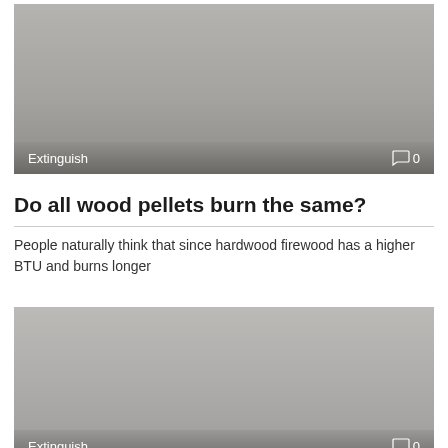[Figure (photo): Gray placeholder image block with 'Extinguish' label and comment count '0' overlaid at the bottom]
Do all wood pellets burn the same?
People naturally think that since hardwood firewood has a higher BTU and burns longer
[Figure (photo): Gray placeholder image block with 'Extinguish' label and comment count '0' overlaid at the bottom]
What are the 6 types of fire